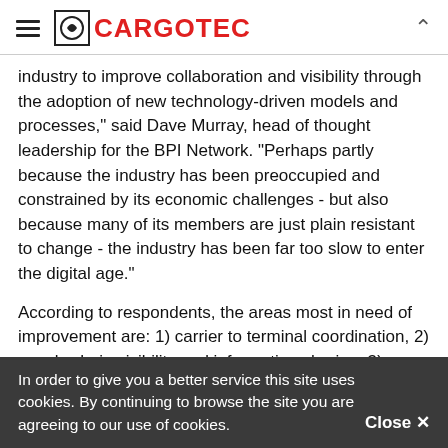CARGOTEC
industry to improve collaboration and visibility through the adoption of new technology-driven models and processes," said Dave Murray, head of thought leadership for the BPI Network. "Perhaps partly because the industry has been preoccupied and constrained by its economic challenges - but also because many of its members are just plain resistant to change - the industry has been far too slow to enter the digital age."
According to respondents, the areas most in need of improvement are: 1) carrier to terminal coordination, 2) supply chain visibility and information sharing, 3) terminal operations, 4) cargo flow visibility and predictability, and 5)
In order to give you a better service this site uses cookies. By continuing to browse the site you are agreeing to our use of cookies. Close ×